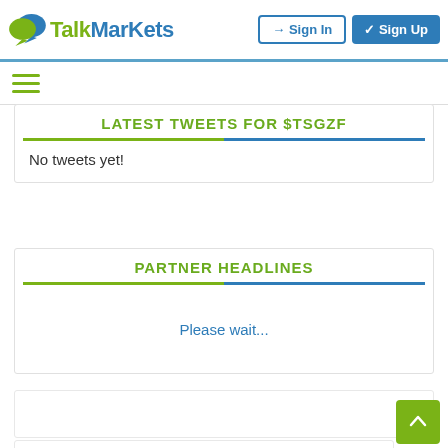TalkMarkets — Sign In | Sign Up
LATEST TWEETS FOR $TSGZF
No tweets yet!
PARTNER HEADLINES
Please wait...
FROM OUR PARTNERS
Kim Jong-Un's Sister Asks South Korean